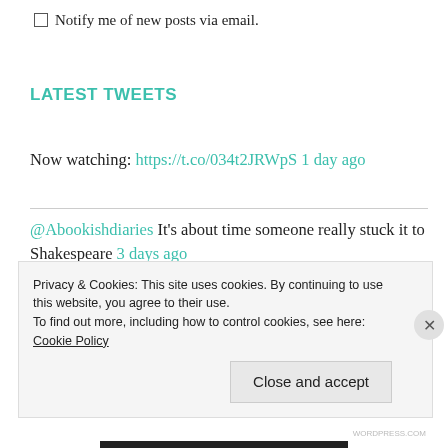Notify me of new posts via email.
LATEST TWEETS
Now watching: https://t.co/034t2JRWpS 1 day ago
@Abookishdiaries It's about time someone really stuck it to Shakespeare 3 days ago
Why don't you just buy it like everyone else.
Privacy & Cookies: This site uses cookies. By continuing to use this website, you agree to their use. To find out more, including how to control cookies, see here: Cookie Policy
Close and accept